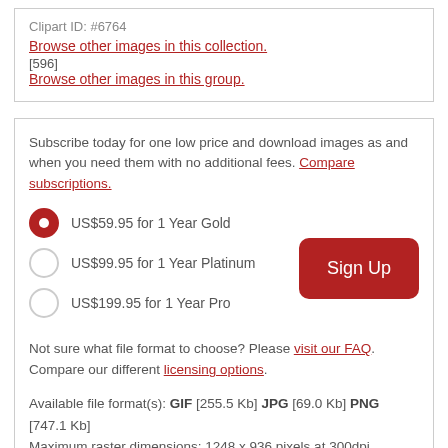Clipart ID: #6764
Browse other images in this collection. [596]
Browse other images in this group.
Subscribe today for one low price and download images as and when you need them with no additional fees. Compare subscriptions.
US$59.95 for 1 Year Gold
US$99.95 for 1 Year Platinum
US$199.95 for 1 Year Pro
Not sure what file format to choose? Please visit our FAQ. Compare our different licensing options.
Available file format(s): GIF [255.5 Kb] JPG [69.0 Kb] PNG [747.1 Kb]
Maximum raster dimensions: 1248 x 936 pixels at 300dpi
MLA Citation:
Father Clipart. Clipart. Animation Factory. Authentic Creatives, LLC. 18-04-